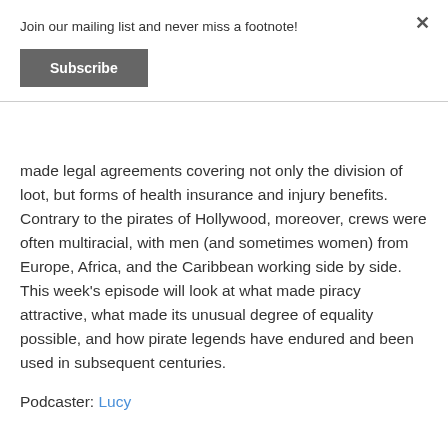Join our mailing list and never miss a footnote!
Subscribe
made legal agreements covering not only the division of loot, but forms of health insurance and injury benefits. Contrary to the pirates of Hollywood, moreover, crews were often multiracial, with men (and sometimes women) from Europe, Africa, and the Caribbean working side by side. This week's episode will look at what made piracy attractive, what made its unusual degree of equality possible, and how pirate legends have endured and been used in subsequent centuries.
Podcaster: Lucy